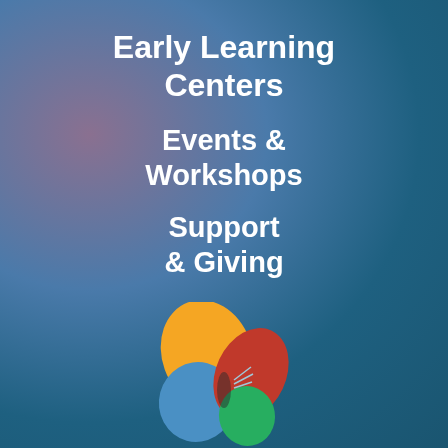Early Learning Centers
Events & Workshops
Support & Giving
[Figure (illustration): Colorful butterfly logo with four wings: orange (top-left), blue (bottom-left), green (bottom-right), red/coral (top-right), with small decorative lines at center-right]